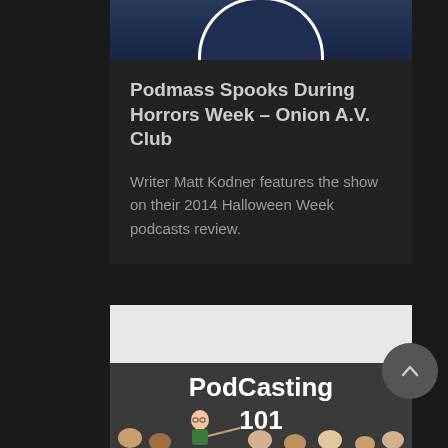[Figure (illustration): Partial circular logo/icon with dark navy background and white border, cropped at top of card]
Podmass Spooks During Horrors Week – Onion A.V. Club
Writer Matt Kodner features the show on their 2014 Halloween Week podcasts review.
[Figure (illustration): Podcasting 101 cartoon illustration showing a cartoon character with red hair and glasses pointing at a chalkboard that reads 'PodCasting 101', with cartoon audience members visible at the bottom]
[Figure (illustration): Scroll-to-top circular button with upward arrow icon]